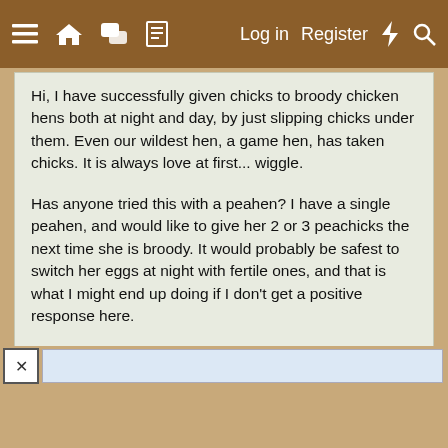≡  ⌂  💬  📄    Log in   Register   ⚡   🔍
Hi, I have successfully given chicks to broody chicken hens both at night and day, by just slipping chicks under them. Even our wildest hen, a game hen, has taken chicks. It is always love at first... wiggle.

Has anyone tried this with a peahen? I have a single peahen, and would like to give her 2 or 3 peachicks the next time she is broody. It would probably be safest to switch her eggs at night with fertile ones, and that is what I might end up doing if I don't get a positive response here.

So has anyone slipped new peachicks under a peahen at night? What were your results?
↩ Reply